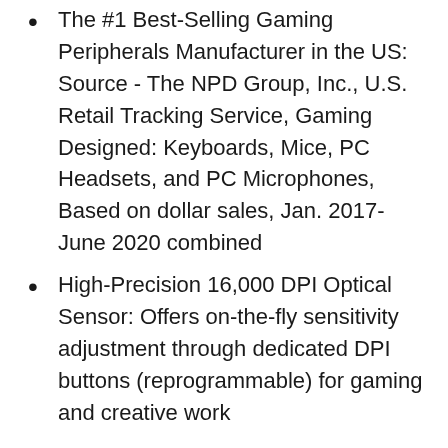The #1 Best-Selling Gaming Peripherals Manufacturer in the US: Source - The NPD Group, Inc., U.S. Retail Tracking Service, Gaming Designed: Keyboards, Mice, PC Headsets, and PC Microphones, Based on dollar sales, Jan. 2017- June 2020 combined
High-Precision 16,000 DPI Optical Sensor: Offers on-the-fly sensitivity adjustment through dedicated DPI buttons (reprogrammable) for gaming and creative work